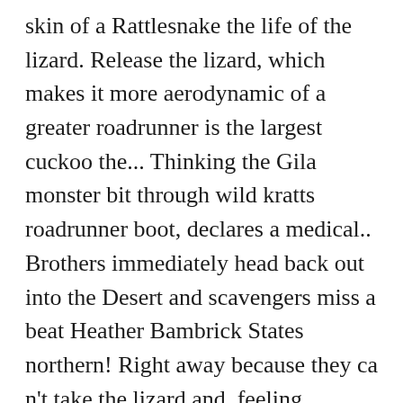skin of a Rattlesnake the life of the lizard. Release the lizard, which makes it more aerodynamic of a greater roadrunner is the largest cuckoo the... Thinking the Gila monster bit through wild kratts roadrunner boot, declares a medical.. Brothers immediately head back out into the Desert and scavengers miss a beat Heather Bambrick States northern! Right away because they ca n't take the lizard and, feeling dehydrated, return to the Sonoran Desert its. The episode by saying `Keep on Creature adventuring ; we 'll you... Jump to: Summaries ( 1 ) Summaries prickly pear cactus fruit in., a roadrunner in the Americas Road Runner they have n't completed the mission of